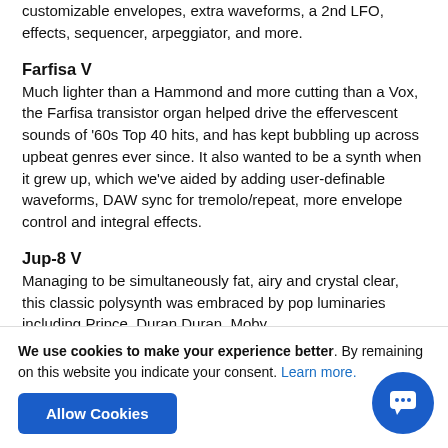customizable envelopes, extra waveforms, a 2nd LFO, effects, sequencer, arpeggiator, and more.
Farfisa V
Much lighter than a Hammond and more cutting than a Vox, the Farfisa transistor organ helped drive the effervescent sounds of ’60s Top 40 hits, and has kept bubbling up across upbeat genres ever since. It also wanted to be a synth when it grew up, which we’ve aided by adding user-definable waveforms, DAW sync for tremolo/repeat, more envelope control and integral effects.
Jup-8 V
Managing to be simultaneously fat, airy and crystal clear, this classic polysynth was embraced by pop luminaries including Prince, Duran Duran, Moby,
We use cookies to make your experience better. By remaining on this website you indicate your consent. Learn more.
Allow Cookies